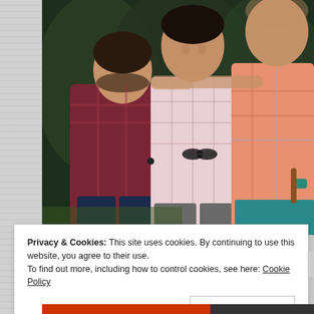[Figure (photo): Three men smiling and posing together outdoors at night. The man on the left wears a dark red/maroon plaid short-sleeve shirt and has a beard. The man in the middle wears a light pink/white checkered button-down shirt with sunglasses tucked in the pocket. The man on the right wears a salmon/coral plaid shirt and teal shorts, holding what appears to be a cigar. Background shows dark greenery and a warm light source.]
Privacy & Cookies: This site uses cookies. By continuing to use this website, you agree to their use.
To find out more, including how to control cookies, see here: Cookie Policy
Close and accept